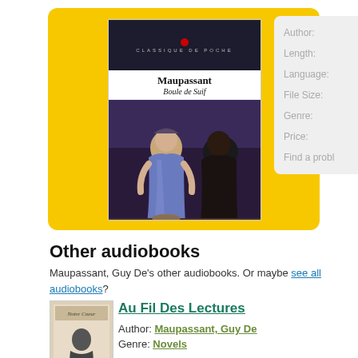[Figure (illustration): Book cover for Maupassant's 'Boule de Suif' with yellow background and artistic painting of figures]
Author:
Length:
Language:
File Size:
Genre:
Price:
Find a prob
Other audiobooks
Maupassant, Guy De's other audiobooks. Or maybe see all audiobooks?
[Figure (illustration): Small thumbnail book cover for Au Fil Des Lectures]
Au Fil Des Lectures
Author: Maupassant, Guy De
Genre: Novels
download book